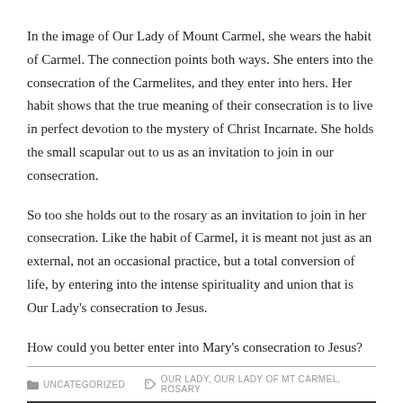In the image of Our Lady of Mount Carmel, she wears the habit of Carmel. The connection points both ways. She enters into the consecration of the Carmelites, and they enter into hers. Her habit shows that the true meaning of their consecration is to live in perfect devotion to the mystery of Christ Incarnate. She holds the small scapular out to us as an invitation to join in our consecration.
So too she holds out to the rosary as an invitation to join in her consecration. Like the habit of Carmel, it is meant not just as an external, not an occasional practice, but a total conversion of life, by entering into the intense spirituality and union that is Our Lady’s consecration to Jesus.
How could you better enter into Mary’s consecration to Jesus?
UNCATEGORIZED   OUR LADY, OUR LADY OF MT CARMEL, ROSARY